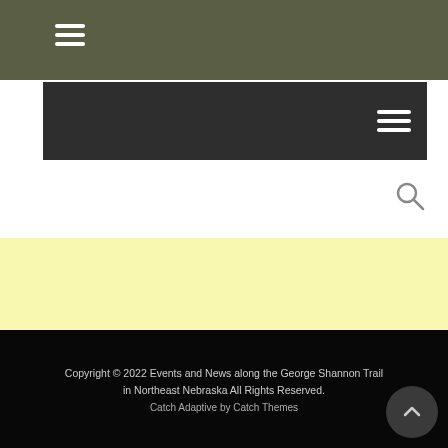[Figure (screenshot): Website header with olive/green background containing a hamburger menu icon (three horizontal white lines)]
[Figure (screenshot): Dark navigation bar with hamburger menu icon on the right side]
[Figure (screenshot): Search icon (magnifying glass) on dark background]
[Figure (screenshot): Light yellow content area]
[Figure (screenshot): White content area]
Copyright © 2022 Events and News along the George Shannon Trail in Northeast Nebraska All Rights Reserved.
Catch Adaptive by Catch Themes